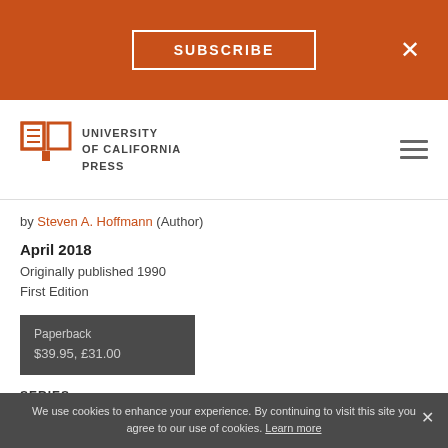SUBSCRIBE  ×
[Figure (logo): University of California Press logo with stylized open book icon and text UNIVERSITY of CALIFORNIA PRESS]
by Steven A. Hoffmann (Author)
April 2018
Originally published 1990
First Edition
Paperback
$39.95,  £31.00
SERIES
International Crisis Behavior
We use cookies to enhance your experience. By continuing to visit this site you agree to our use of cookies. Learn more